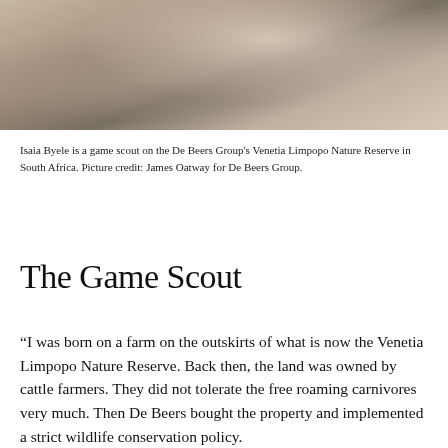[Figure (photo): A person (Isaia Byele) sitting outdoors in a light-colored top and khaki trousers, with rocky terrain and dry vegetation in the background.]
Isaia Byele is a game scout on the De Beers Group's Venetia Limpopo Nature Reserve in South Africa. Picture credit: James Oatway for De Beers Group.
The Game Scout
“I was born on a farm on the outskirts of what is now the Venetia Limpopo Nature Reserve. Back then, the land was owned by cattle farmers. They did not tolerate the free roaming carnivores very much. Then De Beers bought the property and implemented a strict wildlife conservation policy.